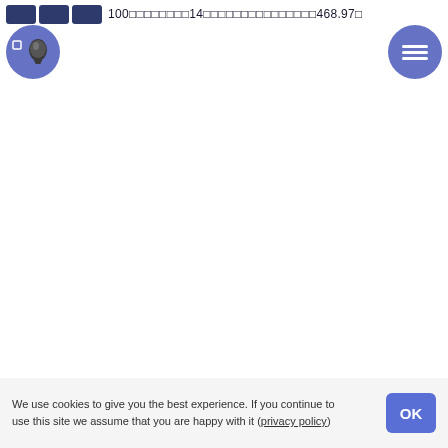100□□□□□□□□14□□□□□□□□□□□□□□□468.97□
[Figure (illustration): Dark blue rounded rectangle navigation buttons (back/forward) on the left side of the header bar]
[Figure (illustration): Blue circle icon with white lightbulb symbol, left side]
[Figure (illustration): Blue circle icon with white hamburger menu lines, right side]
We use cookies to give you the best experience. If you continue to use this site we assume that you are happy with it (privacy policy)